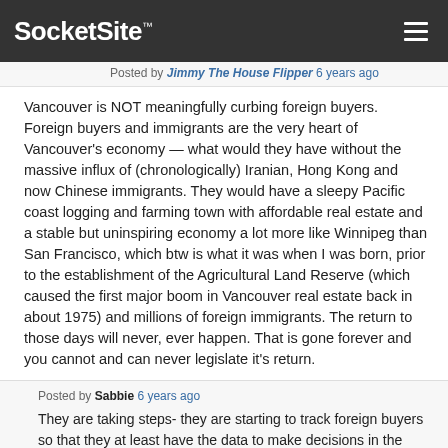SocketSite™
Posted by Jimmy The House Flipper 6 years ago
Vancouver is NOT meaningfully curbing foreign buyers. Foreign buyers and immigrants are the very heart of Vancouver's economy — what would they have without the massive influx of (chronologically) Iranian, Hong Kong and now Chinese immigrants. They would have a sleepy Pacific coast logging and farming town with affordable real estate and a stable but uninspiring economy a lot more like Winnipeg than San Francisco, which btw is what it was when I was born, prior to the establishment of the Agricultural Land Reserve (which caused the first major boom in Vancouver real estate back in about 1975) and millions of foreign immigrants. The return to those days will never, ever happen. That is gone forever and you cannot and can never legislate it's return.
Posted by Sabbie 6 years ago
They are taking steps- they are starting to track foreign buyers so that they at least have the data to make decisions in the future, and they have banned a certain kind flipping transaction that was commonly used by these buyers. In contrast, the NAR urges all Americans to